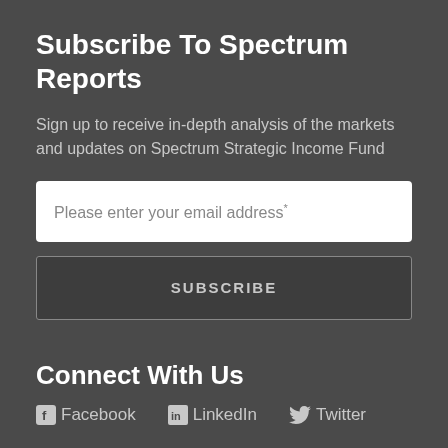Subscribe To Spectrum Reports
Sign up to receive in-depth analysis of the markets and updates on Spectrum Strategic Income Fund
Please enter your email address*
SUBSCRIBE
Connect With Us
Facebook   LinkedIn   Twitter
Our Latest Tweet
Lindsay Skardoon   3 weeks ago